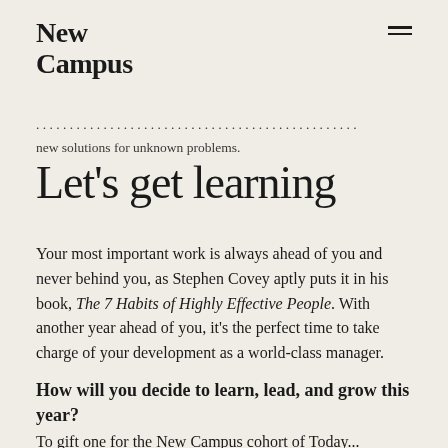New Campus
...For an entrepreneur's duty to experiment on new solutions for unknown problems.
Let's get learning
Your most important work is always ahead of you and never behind you, as Stephen Covey aptly puts it in his book, The 7 Habits of Highly Effective People. With another year ahead of you, it's the perfect time to take charge of your development as a world-class manager.
How will you decide to learn, lead, and grow this year?
To gift one for the New Campus cohort of Today...